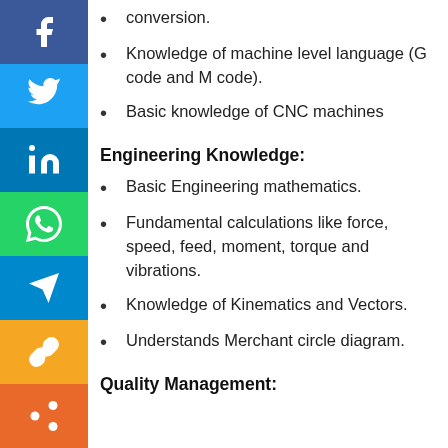conversion.
Knowledge of machine level language (G code and M code).
Basic knowledge of CNC machines
Engineering Knowledge:
Basic Engineering mathematics.
Fundamental calculations like force, speed, feed, moment, torque and vibrations.
Knowledge of Kinematics and Vectors.
Understands Merchant circle diagram.
Quality Management: